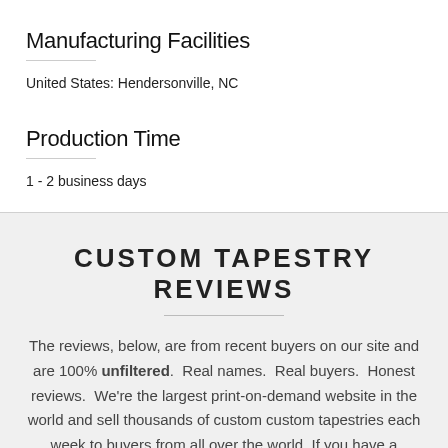Manufacturing Facilities
United States: Hendersonville, NC
Production Time
1 - 2 business days
CUSTOM TAPESTRY REVIEWS
The reviews, below, are from recent buyers on our site and are 100% unfiltered. Real names. Real buyers. Honest reviews. We're the largest print-on-demand website in the world and sell thousands of custom custom tapestries each week to buyers from all over the world. If you have a question about custom...